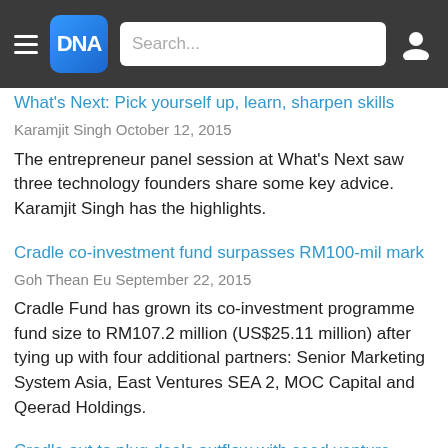DNA | Search...
What's Next: Pick yourself up, learn, sharpen skills
Karamjit Singh October 12, 2015
The entrepreneur panel session at What's Next saw three technology founders share some key advice. Karamjit Singh has the highlights.
Cradle co-investment fund surpasses RM100-mil mark
Goh Thean Eu September 22, 2015
Cradle Fund has grown its co-investment programme fund size to RM107.2 million (US$25.11 million) after tying up with four additional partners: Senior Marketing System Asia, East Ventures SEA 2, MOC Capital and Qeerad Holdings.
Cradle out to plug deals outflow with seed venture initiative
Goh Thean Eu June 9, 2015
Some may see the recent launch of Cradle Seed Ventures